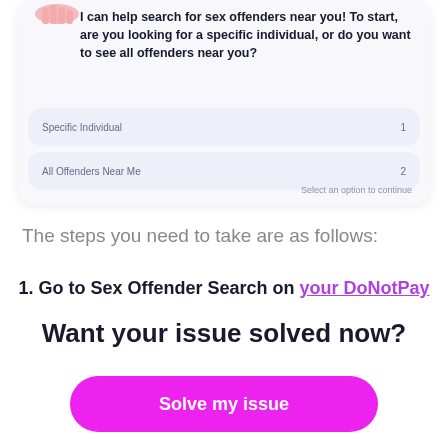[Figure (screenshot): App screenshot showing a chatbot interface with message: 'I can help search for sex offenders near you! To start, are you looking for a specific individual, or do you want to see all offenders near you?' with two options: 'Specific Individual' (1) and 'All Offenders Near Me' (2), and a hint 'Select an option to continue']
The steps you need to take are as follows:
1. Go to Sex Offender Search on your DoNotPay
Want your issue solved now?
Solve my issue